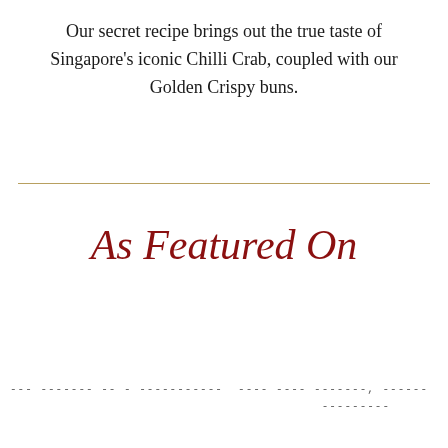Our secret recipe brings out the true taste of Singapore's iconic Chilli Crab, coupled with our Golden Crispy buns.
As Featured On
--- ------- -- - ----------- ---- ---- ------- -, ------